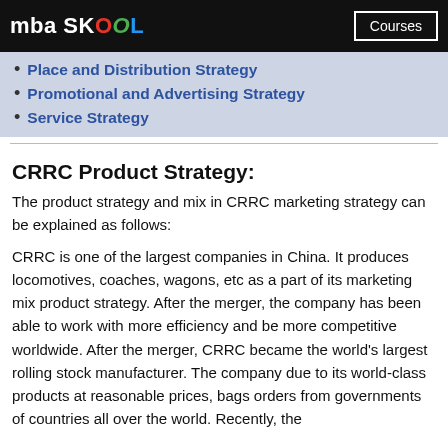mba SKOOL | Courses
Place and Distribution Strategy
Promotional and Advertising Strategy
Service Strategy
CRRC Product Strategy:
The product strategy and mix in CRRC marketing strategy can be explained as follows:
CRRC is one of the largest companies in China. It produces locomotives, coaches, wagons, etc as a part of its marketing mix product strategy. After the merger, the company has been able to work with more efficiency and be more competitive worldwide. After the merger, CRRC became the world's largest rolling stock manufacturer. The company due to its world-class products at reasonable prices, bags orders from governments of countries all over the world. Recently, the